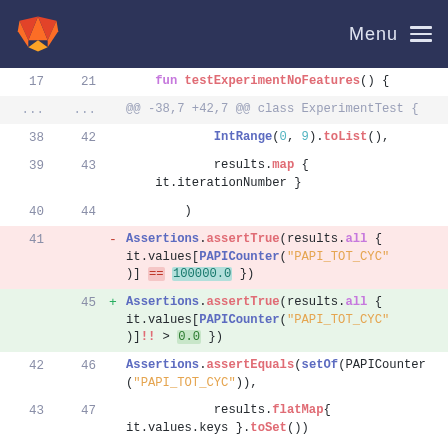GitLab Menu
[Figure (screenshot): Code diff view showing Kotlin test file changes. Lines 17-47 with deleted and added blocks. Removed: Assertions.assertTrue(results.all { it.values[PAPICounter("PAPI_TOT_CYC")] == 100000.0 }). Added: Assertions.assertTrue(results.all { it.values[PAPICounter("PAPI_TOT_CYC")]!! > 0.0 }). Context shows IntRange, results.map, Assertions.assertEquals, results.flatMap.]